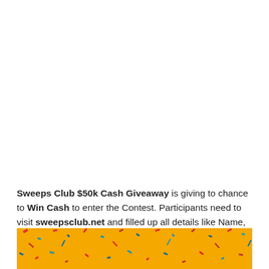Sweeps Club $50k Cash Giveaway is giving to chance to Win Cash to enter the Contest. Participants need to visit sweepsclub.net and filled up all details like Name, Phone No, Email ID, City, State and Zip Code then after filled up all details click on Submit (Submitted on before last date).
[Figure (illustration): Yellow/orange background with colorful confetti pieces scattered across the bottom strip of the page.]